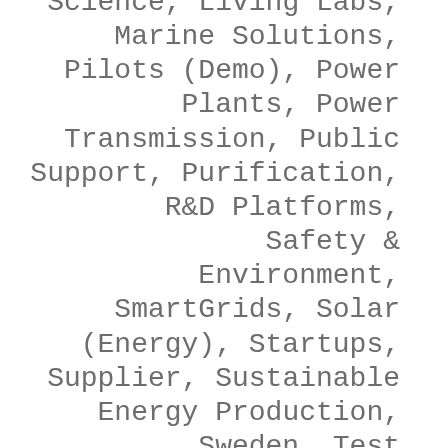Science, Living Labs, Marine Solutions, Pilots (Demo), Power Plants, Power Transmission, Public Support, Purification, R&D Platforms, Safety & Environment, SmartGrids, Solar (Energy), Startups, Supplier, Sustainable Energy Production, Sweden, Test Facilities, Test Facilities, Transport, Urban Planning, Utilities & Investment Projects, Utilities &